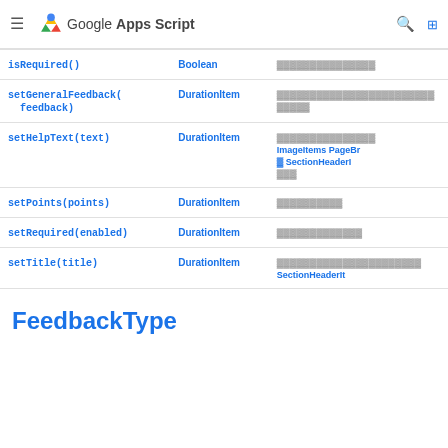Google Apps Script
| Method | Return type | Description |
| --- | --- | --- |
| isRequired() | Boolean | … |
| setGeneralFeedback(feedback) | DurationItem | … |
| setHelpText(text) | DurationItem | … ImageItems PageB… SectionHeaderI… |
| setPoints(points) | DurationItem | … |
| setRequired(enabled) | DurationItem | … |
| setTitle(title) | DurationItem | … SectionHeaderIt… |
FeedbackType